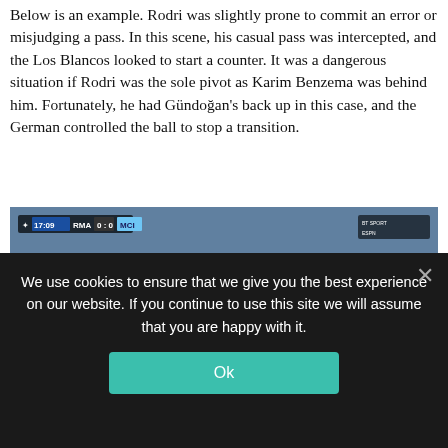Below is an example. Rodri was slightly prone to commit an error or misjudging a pass. In this scene, his casual pass was intercepted, and the Los Blancos looked to start a counter. It was a dangerous situation if Rodri was the sole pivot as Karim Benzema was behind him. Fortunately, he had Gündoğan's back up in this case, and the German controlled the ball to stop a transition.
[Figure (photo): Screenshot of a football match broadcast showing a UEFA Champions League game between RMA and MCI at 17:09 with score 0-0. The scene shows players on a green pitch with crowd in background, Pepsi advertising boards, and player position labels including Gündoğan, Benzema, Fernandinho, and Rodri.]
We use cookies to ensure that we give you the best experience on our website. If you continue to use this site we will assume that you are happy with it.